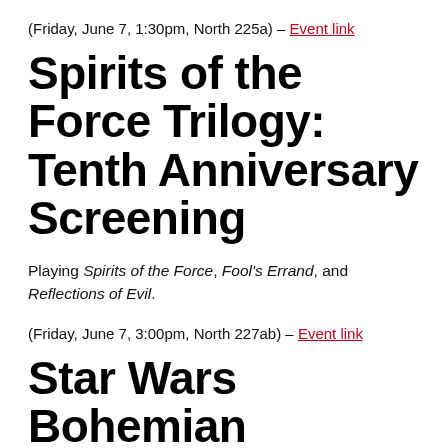(Friday, June 7, 1:30pm, North 225a) – Event link
Spirits of the Force Trilogy: Tenth Anniversary Screening
Playing Spirits of the Force, Fool's Errand, and Reflections of Evil.
(Friday, June 7, 3:00pm, North 227ab) – Event link
Star Wars Bohemian Rhapsody